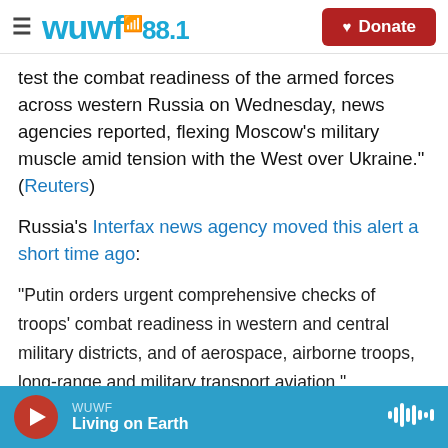WUWF 88.1 | Donate
test the combat readiness of the armed forces across western Russia on Wednesday, news agencies reported, flexing Moscow's military muscle amid tension with the West over Ukraine." (Reuters)
Russia's Interfax news agency moved this alert a short time ago:
"Putin orders urgent comprehensive checks of troops' combat readiness in western and central military districts, and of aerospace, airborne troops, long-range and military transport aviation."
WUWF | Living on Earth